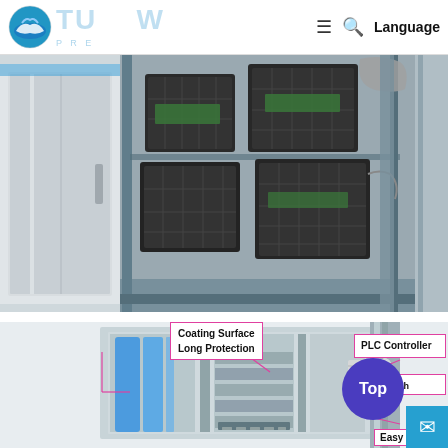Language
[Figure (photo): Cold room / refrigeration storage unit with open sliding door revealing multiple black plastic crates/baskets stacked inside on shelves. Stainless steel exterior paneling visible on the left door panel.]
[Figure (photo): Close-up of industrial cold room or refrigeration machinery interior, showing stainless steel coated surfaces, mechanical components, blue cylindrical elements, and vertical metal columns. Annotation callouts indicate: 'Coating Surface Long Protection' (pink border, top center), 'PLC Controller' (pink border, top right), 'Touch...' (partially visible, pink border), 'Easy C...' (partially visible, pink border).]
Coating Surface Long Protection
PLC Controller